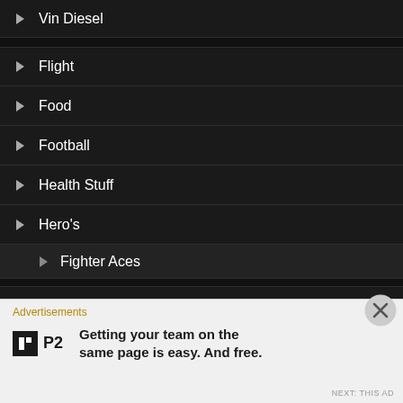▶ Vin Diesel
▶ Flight
▶ Food
▶ Football
▶ Health Stuff
▶ Hero's
▶ Fighter Aces
▶ Home
▶ How to:??
▶ Martial Arts
Advertisements
[Figure (logo): P2 logo: black square with white icon and P2 text]
Getting your team on the same page is easy. And free.